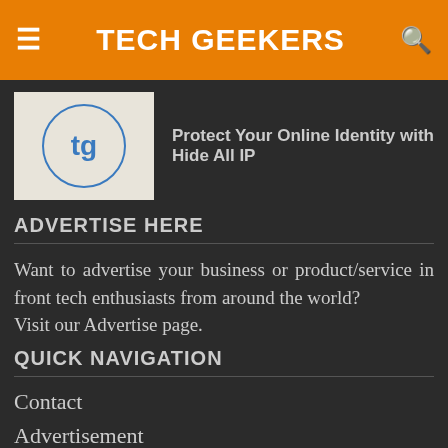TECH GEEKERS
[Figure (logo): Tech Geekers logo: circular 'tg' monogram in blue on beige background]
Protect Your Online Identity with Hide All IP
ADVERTISE HERE
Want to advertise your business or product/service in front tech enthusiasts from around the world?
Visit our Advertise page.
QUICK NAVIGATION
Contact
Advertisement
Privacy Policy
The Team